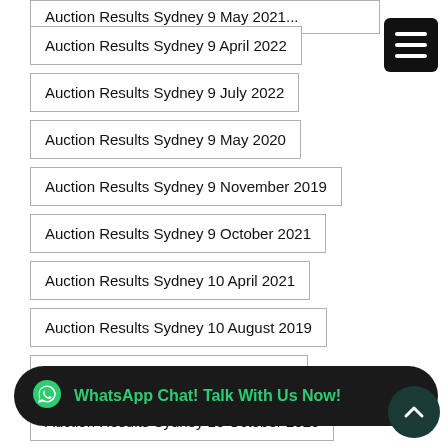Auction Results Sydney 9 April 2022
Auction Results Sydney 9 July 2022
Auction Results Sydney 9 May 2020
Auction Results Sydney 9 November 2019
Auction Results Sydney 9 October 2021
Auction Results Sydney 10 April 2021
Auction Results Sydney 10 August 2019
Auction Results Sydney 10 July 2021
Auction Results Sydney 10 October 2020
Auction Results Sydney 11 April 2020
Auction Results Sydney 11 July 2020
WhatsApp Chat! Talk With Us Now!